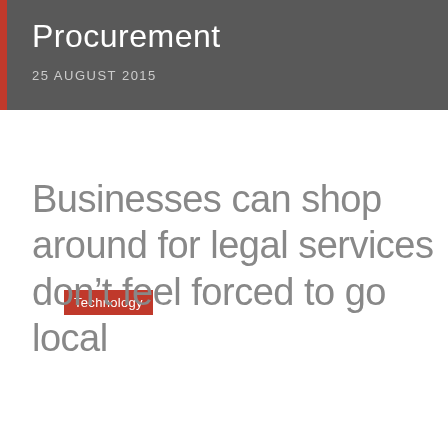Procurement
25 AUGUST 2015
Technology
Businesses can shop around for legal services don’t feel forced to go local